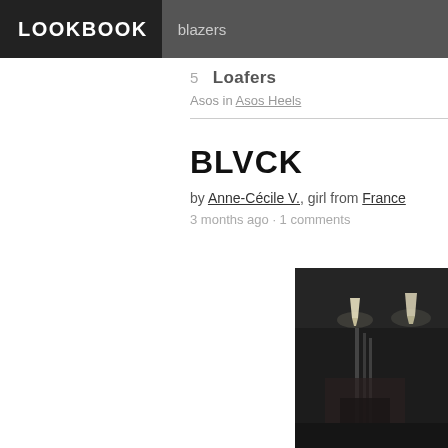LOOKBOOK   blazers
5  Loafers
Asos in Asos Heels
BLVCK
by Anne-Cécile V., girl from France
3 months ago · 1 comments
[Figure (photo): Dark indoor photo showing a person in a dimly lit room with hanging lights visible in the background]